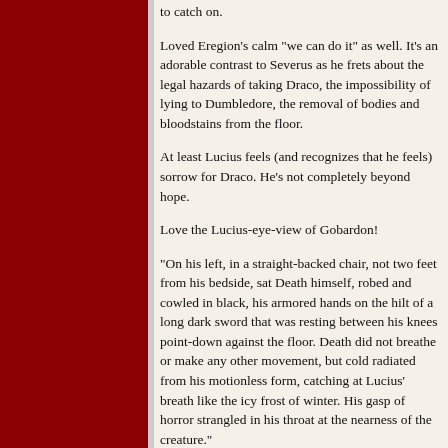to catch on.
Loved Eregion's calm "we can do it" as well. It's an adorable contrast to Severus as he frets about the legal hazards of taking Draco, the impossibility of lying to Dumbledore, the removal of bodies and bloodstains from the floor.
At least Lucius feels (and recognizes that he feels) sorrow for Draco. He's not completely beyond hope.
Love the Lucius-eye-view of Gobardon!
"On his left, in a straight-backed chair, not two feet from his bedside, sat Death himself, robed and cowled in black, his armored hands on the hilt of a long dark sword that was resting between his knees point-down against the floor. Death did not breathe or make any other movement, but cold radiated from his motionless form, catching at Lucius' breath like the icy frost of winter. His gasp of horror strangled in his throat at the nearness of the creature."
The bit with Gaearon gnawing the thighbone made me shiver with dread.